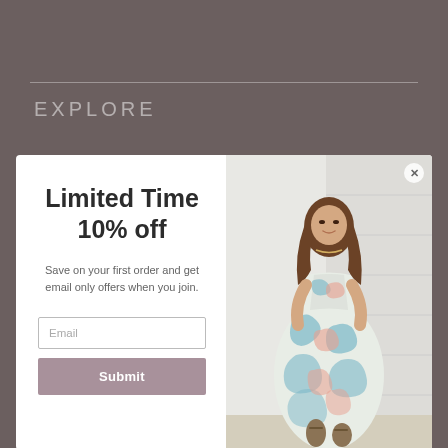[Figure (screenshot): E-commerce boutique website background with taupe/mauve color, showing EXPLORE header and Mulberry + Grace Boutique branding]
Limited Time
10% off
Save on your first order and get email only offers when you join.
[Figure (photo): Woman wearing a flowing blue, white, and coral abstract print maxi dress, posing against a white shiplap wall background]
Submit